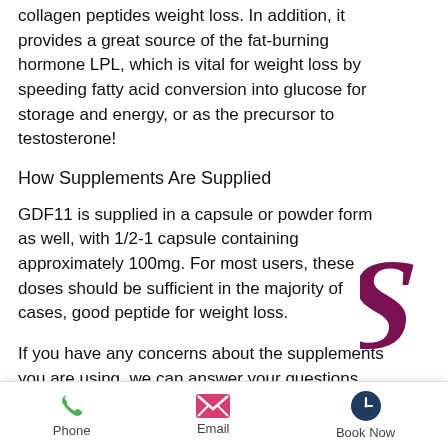collagen peptides weight loss. In addition, it provides a great source of the fat-burning hormone LPL, which is vital for weight loss by speeding fatty acid conversion into glucose for storage and energy, or as the precursor to testosterone!
How Supplements Are Supplied
GDF11 is supplied in a capsule or powder form as well, with 1/2-1 capsule containing approximately 100mg. For most users, these doses should be sufficient in the majority of cases, good peptide for weight loss.
If you have any concerns about the supplements you are using, we can answer your questions online. Just click on the Ask The Expert button and we'd only take a
[Figure (logo): Cursive stylized letter S in dark magenta/purple and the word NEVER in gold italic text, partial brand logo visible on right side]
Phone  Email  Book Now